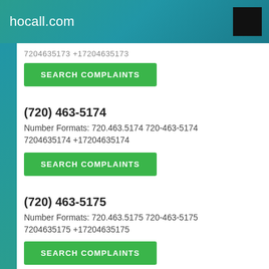hocall.com
7204635173 +17204635173
SEARCH COMPLAINTS
(720) 463-5174
Number Formats: 720.463.5174 720-463-5174 7204635174 +17204635174
SEARCH COMPLAINTS
(720) 463-5175
Number Formats: 720.463.5175 720-463-5175 7204635175 +17204635175
SEARCH COMPLAINTS
(720) 463-5176
Number Formats: 720.463.5176 720-463-5176 7204635176 +17204635176